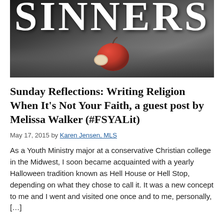[Figure (photo): Book cover image showing the word SINNERS in large white serif text at the top, with a bitten red apple resting on dark ground below, against a grey textured background.]
Sunday Reflections: Writing Religion When It’s Not Your Faith, a guest post by Melissa Walker (#FSYALit)
May 17, 2015 by Karen Jensen, MLS
As a Youth Ministry major at a conservative Christian college in the Midwest, I soon became acquainted with a yearly Halloween tradition known as Hell House or Hell Stop, depending on what they chose to call it. It was a new concept to me and I went and visited one once and to me, personally, […]